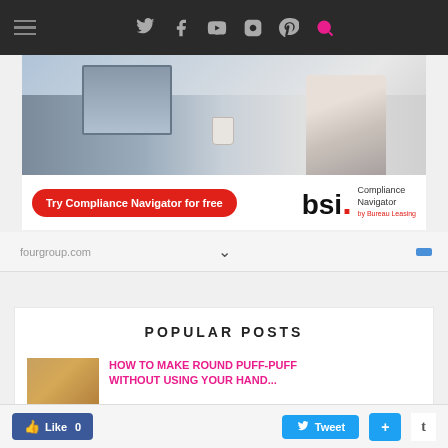Navigation bar with hamburger menu and social icons: Twitter, Facebook, YouTube, Instagram, Pinterest, Search
[Figure (photo): BSI Compliance Navigator advertisement banner showing a person working at a desk with monitors, with red button 'Try Compliance Navigator for free' and BSI logo]
fourgroup.com
POPULAR POSTS
[Figure (photo): Thumbnail image of round puff-puff (fried dough balls)]
HOW TO MAKE ROUND PUFF-PUFF WITHOUT USING YOUR HAND...
Like 0   Tweet   +   t